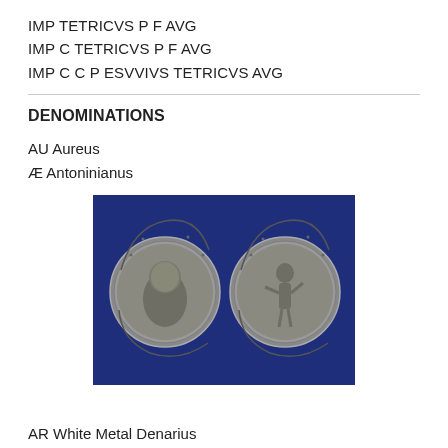IMP TETRICVS P F AVG
IMP C TETRICVS P F AVG
IMP C C P ESVVIVS TETRICVS AVG
DENOMINATIONS
AU Aureus
Æ Antoninianus
[Figure (photo): Photograph of two ancient Roman silver coins on a dark blue background. Left coin shows obverse with portrait bust, right coin shows reverse with standing figure.]
AR White Metal Denarius